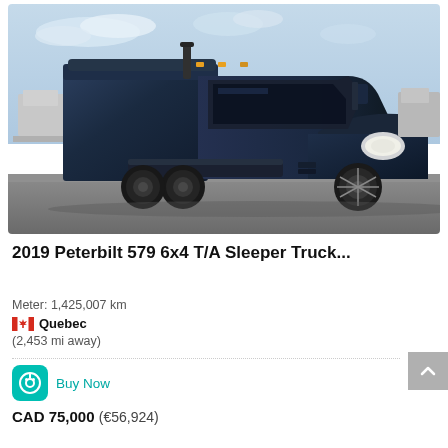[Figure (photo): 2019 Peterbilt 579 6x4 T/A Sleeper Truck in dark navy blue, parked in a lot with other trucks visible in the background, overcast/partly cloudy sky.]
2019 Peterbilt 579 6x4 T/A Sleeper Truck...
Meter: 1,425,007 km
Quebec
(2,453 mi away)
Buy Now
CAD 75,000 (€56,924)